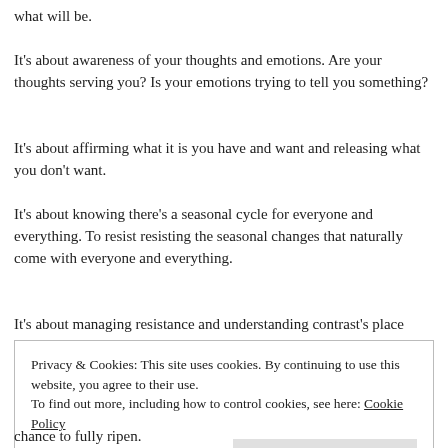what will be.
It's about awareness of your thoughts and emotions. Are your thoughts serving you? Is your emotions trying to tell you something?
It's about affirming what it is you have and want and releasing what you don't want.
It's about knowing there's a seasonal cycle for everyone and everything. To resist resisting the seasonal changes that naturally come with everyone and everything.
It's about managing resistance and understanding contrast's place
Privacy & Cookies: This site uses cookies. By continuing to use this website, you agree to their use.
To find out more, including how to control cookies, see here: Cookie Policy
chance to fully ripen.